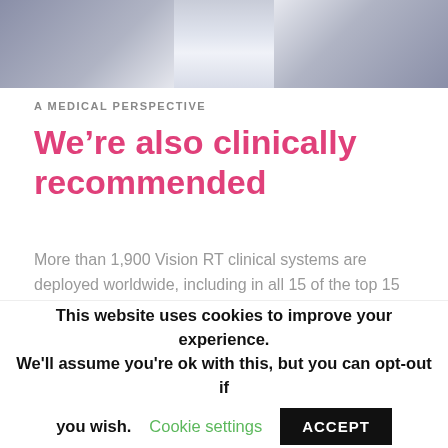[Figure (photo): Top portion of a person wearing a suit, partial view of torso and collar area, grey tones]
A MEDICAL PERSPECTIVE
We're also clinically recommended
More than 1,900 Vision RT clinical systems are deployed worldwide, including in all 15 of the top 15 “Best Hospitals for Cancer”. Over 80 clinical studies using Vision RT’s AlignRT
This website uses cookies to improve your experience. We'll assume you're ok with this, but you can opt-out if you wish.
Cookie settings
ACCEPT